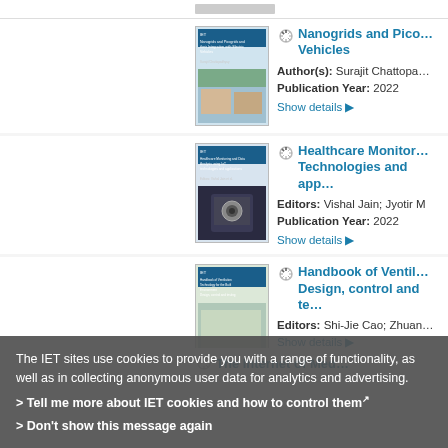[Figure (screenshot): Top partial book entry strip showing bottom of a book cover thumbnail]
[Figure (photo): Book cover: Nanogrids and Picogrids and their Integration with Electric Vehicles, IET publication, showing aerial view of a village]
Nanogrids and Picogrids and their Integration with Electric Vehicles
Author(s): Surajit Chattopa
Publication Year: 2022
Show details
[Figure (photo): Book cover: Healthcare Monitoring and Data Analysis using IoT Technologies and applications, IET publication, showing a tablet with medical imagery]
Healthcare Monitoring and Data Analysis using IoT Technologies and applications
Editors: Vishal Jain; Jyotir M
Publication Year: 2022
Show details
[Figure (photo): Book cover: Handbook of Ventilation Technology for the Built Environment: Design, control and testing, IET publication]
Handbook of Ventilation Technology for the Built Environment: Design, control and testing
Editors: Shi-Jie Cao; Zhuan
Show details
The Internet of Med
The IET sites use cookies to provide you with a range of functionality, as well as in collecting anonymous user data for analytics and advertising.
> Tell me more about IET cookies and how to control them
> Don't show this message again